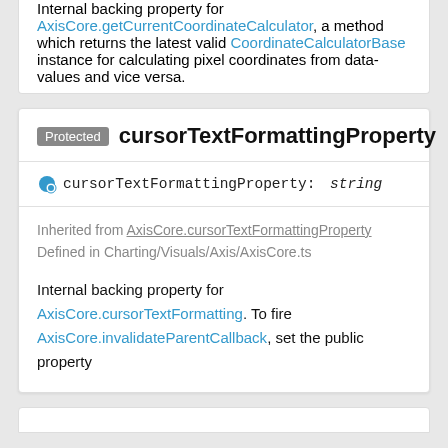Internal backing property for AxisCore.getCurrentCoordinateCalculator, a method which returns the latest valid CoordinateCalculatorBase instance for calculating pixel coordinates from data-values and vice versa.
Protected cursorTextFormattingProperty
● cursorTextFormattingProperty: string
Inherited from AxisCore.cursorTextFormattingProperty
Defined in Charting/Visuals/Axis/AxisCore.ts
Internal backing property for AxisCore.cursorTextFormatting. To fire AxisCore.invalidateParentCallback, set the public property